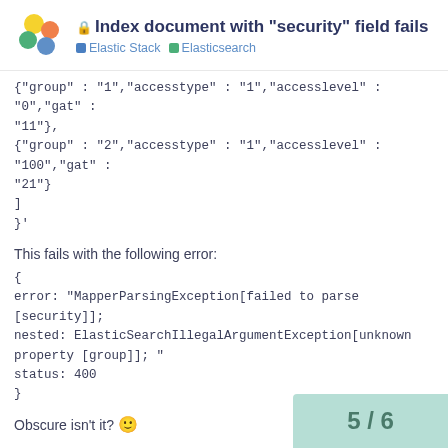Index document with "security" field fails — Elastic Stack | Elasticsearch
{"group" : "1","accesstype" : "1","accesslevel" : "0","gat" : "11"},
{"group" : "2","accesstype" : "1","accesslevel" : "100","gat" : "21"}
]
}'
This fails with the following error:
{
error: "MapperParsingException[failed to parse [security]];
nested: ElasticSearchIllegalArgumentException[unknown property [group]]; "
status: 400
}
Obscure isn't it? 🙂
--
You received this message because you are subscribed to the Google Groups "elasticsearch" grou
5 / 6